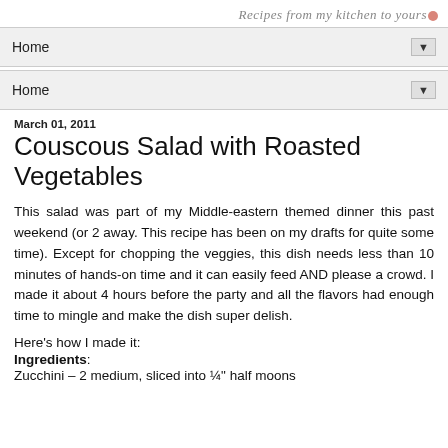Recipes from my kitchen to yours
Home
Home
March 01, 2011
Couscous Salad with Roasted Vegetables
This salad was part of my Middle-eastern themed dinner this past weekend (or 2 away. This recipe has been on my drafts for quite some time). Except for chopping the veggies, this dish needs less than 10 minutes of hands-on time and it can easily feed AND please a crowd. I made it about 4 hours before the party and all the flavors had enough time to mingle and make the dish super delish.
Here's how I made it:
Ingredients: Zucchini – 2 medium, sliced into ¼" half moons